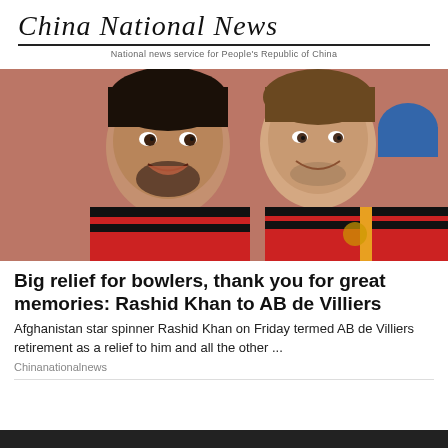China National News
National news service for People's Republic of China
[Figure (photo): Selfie photo of two cricketers in red and black RCB jerseys smiling at camera. Left person is Rashid Khan and right person is AB de Villiers.]
Big relief for bowlers, thank you for great memories: Rashid Khan to AB de Villiers
Afghanistan star spinner Rashid Khan on Friday termed AB de Villiers retirement as a relief to him and all the other ...
Chinanationalnews